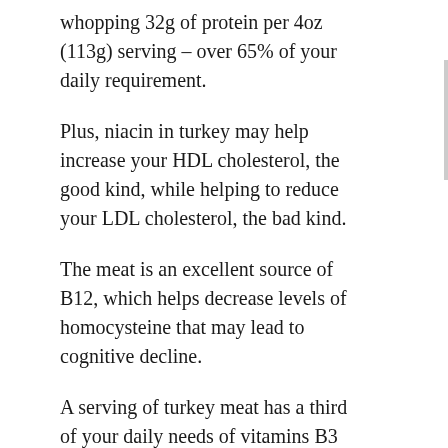whopping 32g of protein per 4oz (113g) serving – over 65% of your daily requirement.
Plus, niacin in turkey may help increase your HDL cholesterol, the good kind, while helping to reduce your LDL cholesterol, the bad kind.
The meat is an excellent source of B12, which helps decrease levels of homocysteine that may lead to cognitive decline.
A serving of turkey meat has a third of your daily needs of vitamins B3 and B6, both needed for good health.
As it's high in zinc, phosphorus, tryptophan,